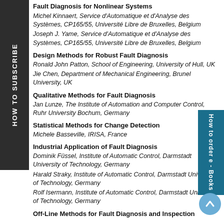Fault Diagnosis for Nonlinear Systems
Michel Kinnaert, Service d'Automatique et d'Analyse des Systèmes, CP165/55, Université Libre de Bruxelles, Belgium
Joseph J. Yame, Service d'Automatique et d'Analyse des Systèmes, CP165/55, Université Libre de Bruxelles, Belgium
Design Methods for Robust Fault Diagnosis
Ronald John Patton, School of Engineering, University of Hull, UK
Jie Chen, Department of Mechanical Engineering, Brunel University, UK
Qualitative Methods for Fault Diagnosis
Jan Lunze, The Institute of Automation and Computer Control, Ruhr University Bochum, Germany
Statistical Methods for Change Detection
Michele Basseville, IRISA, France
Industrial Application of Fault Diagnosis
Dominik Füssel, Institute of Automatic Control, Darmstadt University of Technology, Germany
Harald Straky, Institute of Automatic Control, Darmstadt University of Technology, Germany
Rolf Isermann, Institute of Automatic Control, Darmstadt University of Technology, Germany
Off-Line Methods for Fault Diagnosis and Inspection